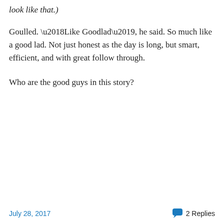look like that.)
Goulled. ‘Like Goodlad’, he said. So much like a good lad. Not just honest as the day is long, but smart, efficient, and with great follow through.
Who are the good guys in this story?
July 28, 2017   2 Replies